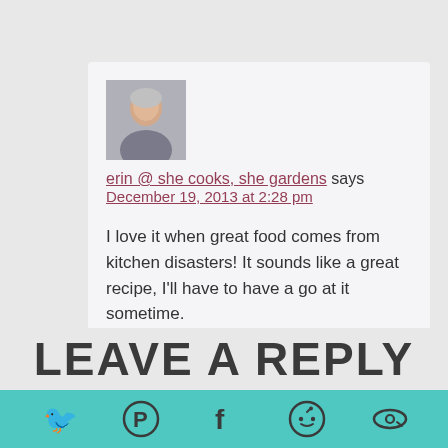[Figure (photo): Avatar photo of a woman, small square thumbnail]
erin @ she cooks, she gardens says
December 19, 2013 at 2:28 pm
I love it when great food comes from kitchen disasters! It sounds like a great recipe, I'll have to have a go at it sometime.

Merry Christmas, JJ!

PS – I can't wait to see what you did with the syrup, everyone is raving about it.
Reply
LEAVE A REPLY
[Figure (infographic): Social sharing bar with Twitter, Pinterest, Facebook, Reddit, and another icon on teal background]